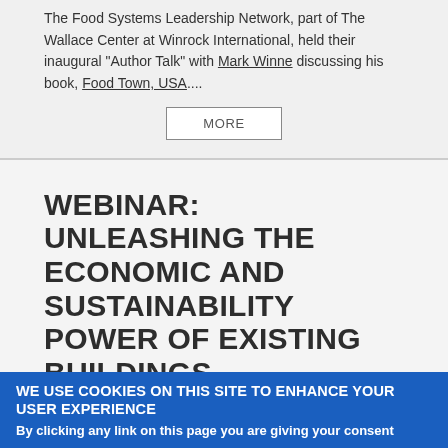The Food Systems Leadership Network, part of The Wallace Center at Winrock International, held their inaugural "Author Talk" with Mark Winne discussing his book, Food Town, USA....
MORE
WEBINAR: UNLEASHING THE ECONOMIC AND SUSTAINABILITY POWER OF EXISTING BUILDINGS
Type of content: Video
In this recording, Craig Stevenson and Beth Eckenrode, who
WE USE COOKIES ON THIS SITE TO ENHANCE YOUR USER EXPERIENCE
By clicking any link on this page you are giving your consent